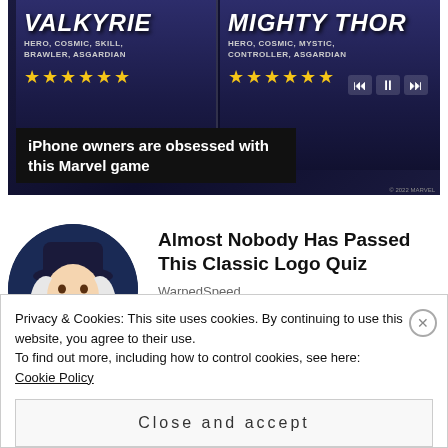[Figure (screenshot): Mobile game advertisement showing Valkyrie and Mighty Thor heroes from Marvel Strike Force. Left side shows Valkyrie (HERO, COSMIC, SKILL, BRAWLER, ASGARDIAN) with 6 gold stars. Right side shows Mighty Thor (HERO, COSMIC, MYSTIC, CONTROLLER, ASGARDIAN) with 6 gold stars. Dark space-themed background with media player controls on the right.]
iPhone owners are obsessed with this Marvel game
[Figure (illustration): Circular thumbnail image of Quaker Oats man - colonial-era gentleman with white curly hair and a wide-brimmed hat, smiling, wearing a dark blue coat with white collar.]
Almost Nobody Has Passed This Classic Logo Quiz
WarpedSpeed
Privacy & Cookies: This site uses cookies. By continuing to use this website, you agree to their use.
To find out more, including how to control cookies, see here: Cookie Policy
Close and accept